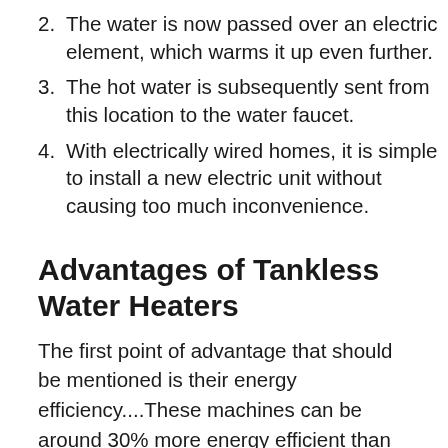2. The water is now passed over an electric element, which warms it up even further.
3. The hot water is subsequently sent from this location to the water faucet.
4. With electrically wired homes, it is simple to install a new electric unit without causing too much inconvenience.
Advantages of Tankless Water Heaters
The first point of advantage that should be mentioned is their energy efficiency....These machines can be around 30% more energy efficient than standard water heaters for a typical water demand.When there is a larger demand for and supply of water, they might be